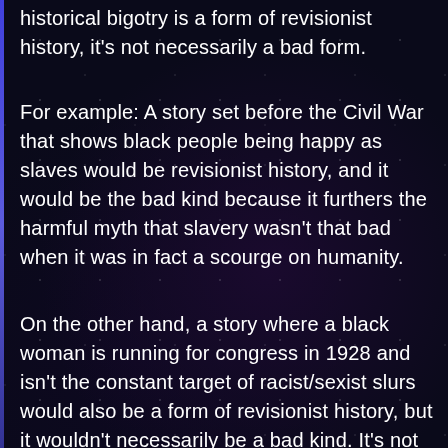historical bigotry is a form of revisionist history, it's not necessarily a bad form.
For example: A story set before the Civil War that shows black people being happy as slaves would be revisionist history, and it would be the bad kind because it furthers the harmful myth that slavery wasn't that bad when it was in fact a scourge on humanity.
On the other hand, a story where a black woman is running for congress in 1928 and isn't the constant target of racist/sexist slurs would also be a form of revisionist history, but it wouldn't necessarily be a bad kind. It's not furthering any harmful myths, and it's done in the name of